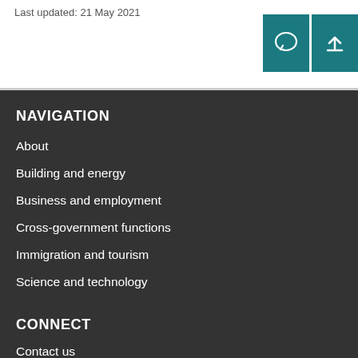Last updated: 21 May 2021
NAVIGATION
About
Building and energy
Business and employment
Cross-government functions
Immigration and tourism
Science and technology
CONNECT
Contact us